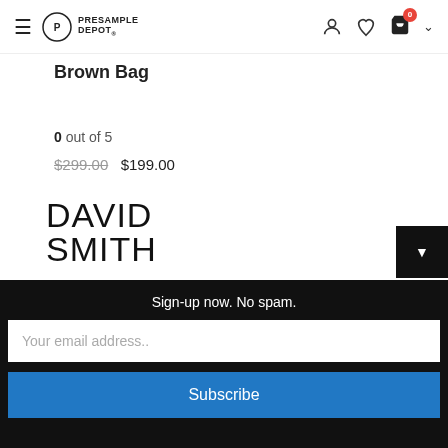Presample Depot navigation header
Brown Bag
0 out of 5
$299.00 $199.00
[Figure (logo): DAVID SMITH brand logo in large sans-serif uppercase text]
[Figure (logo): RJ RON JONES logo with RJ in black box]
Sign-up now. No spam.
Your email address..
Subscribe